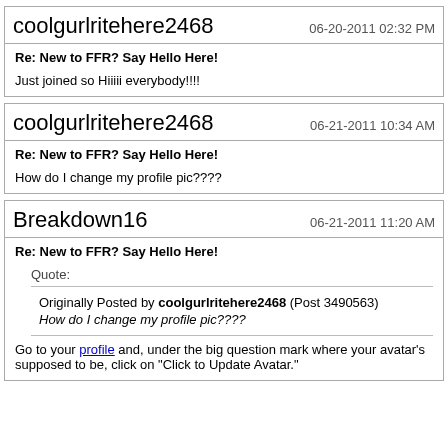coolgurlritehere2468
06-20-2011 02:32 PM
Re: New to FFR? Say Hello Here!
Just joined so Hiiiii everybody!!!!
coolgurlritehere2468
06-21-2011 10:34 AM
Re: New to FFR? Say Hello Here!
How do I change my profile pic????
Breakdown16
06-21-2011 11:20 AM
Re: New to FFR? Say Hello Here!
Quote:
Originally Posted by coolgurlritehere2468 (Post 3490563)
How do I change my profile pic????
Go to your profile and, under the big question mark where your avatar's supposed to be, click on "Click to Update Avatar."